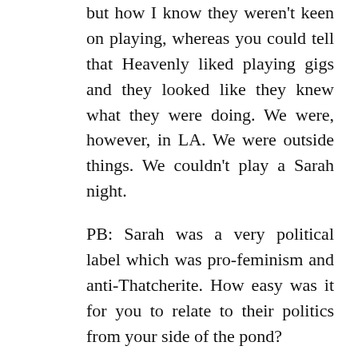but how I know they weren't keen on playing, whereas you could tell that Heavenly liked playing gigs and they looked like they knew what they were doing. We were, however, in LA. We were outside things. We couldn't play a Sarah night.
PB: Sarah was a very political label which was pro-feminism and anti-Thatcherite. How easy was it for you to relate to their politics from your side of the pond?
BA: Very much so. I grew up listening to The Jam and The Style Council, so I knew which side I was on from very early on. So, I got that side of it and chose which side I wanted to be on. I don't think that I ever had a conversation with Matt and Clare about politics. They